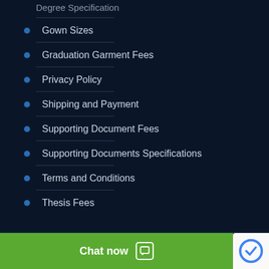Degree Specification
Gown Sizes
Graduation Garment Fees
Privacy Policy
Shipping and Payment
Supporting Document Fees
Supporting Documents Specifications
Terms and Conditions
Thesis Fees
© 2016 University Degree Education. All Rights Reserved.
Chat now